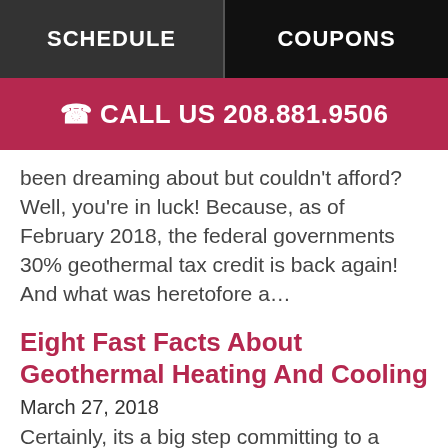SCHEDULE  |  COUPONS
CALL US 208.881.9506
been dreaming about but couldn't afford? Well, you're in luck! Because, as of February 2018, the federal governments 30% geothermal tax credit is back again! And what was heretofore a…
Eight Fast Facts About Geothermal Heating And Cooling
March 27, 2018
Certainly, its a big step committing to a